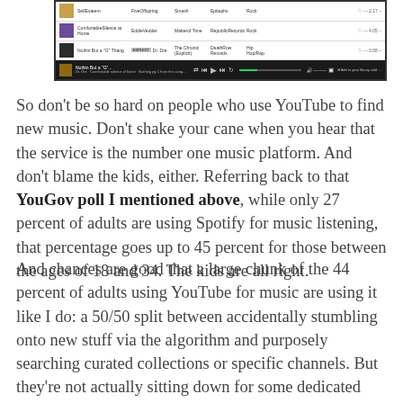[Figure (screenshot): Screenshot of a music player interface (Spotify or similar) showing a list of songs with columns for title, artist, album, label, genre, and controls, plus a playback bar at the bottom.]
So don't be so hard on people who use YouTube to find new music. Don't shake your cane when you hear that the service is the number one music platform. And don't blame the kids, either. Referring back to that YouGov poll I mentioned above, while only 27 percent of adults are using Spotify for music listening, that percentage goes up to 45 percent for those between the ages of 18 and 34. The kids are all right.
And chances are good that a large chunk of the 44 percent of adults using YouTube for music are using it like I do: a 50/50 split between accidentally stumbling onto new stuff via the algorithm and purposely searching curated collections or specific channels. But they're not actually sitting down for some dedicated listening.